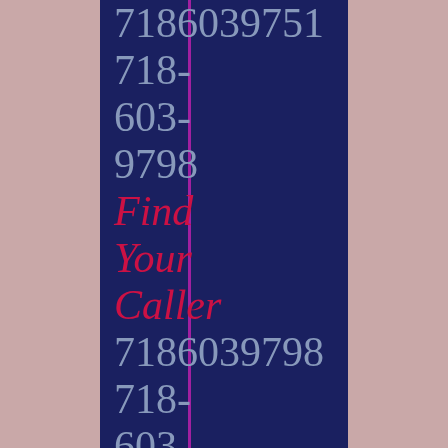7186039751
718-
603-
9798
Find
Your
Caller
7186039798
718-
603-
9742
Find
Your
Caller
7186039742
718-
603-